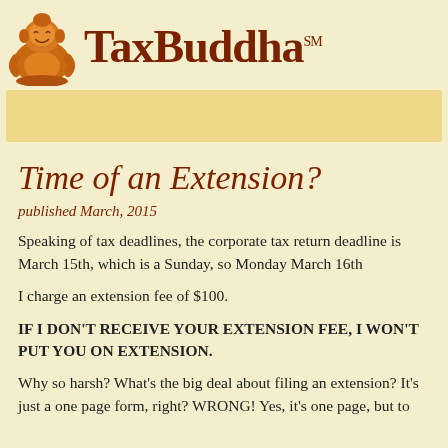[Figure (logo): TaxBuddha logo with orange laughing Buddha figurine on left and bold dark red 'TaxBuddha' text with SM superscript on right]
Time of an Extension?
published March, 2015
Speaking of tax deadlines, the corporate tax return deadline is March 15th, which is a Sunday, so Monday March 16th
I charge an extension fee of $100.
IF I DON'T RECEIVE YOUR EXTENSION FEE, I WON'T PUT YOU ON EXTENSION.
Why so harsh? What's the big deal about filing an extension? It's just a one page form, right? WRONG! Yes, it's one page, but to